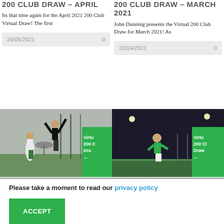200 CLUB DRAW – APRIL
Its that time again for the April 2021 200 Club Virtual Draw! The first
24/05/2021   0
200 CLUB DRAW – MARCH 2021
John Dunning presents the Virtual 200 Club Draw for March 2021! As
22/04/2021   0
[Figure (photo): Soccer goalkeeper jumping to catch ball, daytime, with green Virtual 200 Club Draw overlay]
[Figure (photo): Soccer player running at night, with green Virtual 200 Club Draw overlay]
Please take a moment to read our privacy policy
ACCEPT